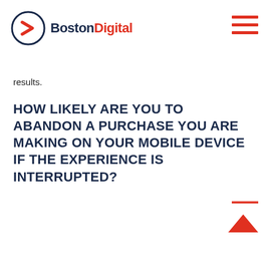[Figure (logo): Boston Digital logo with circular arrow icon and text 'Boston' in dark navy and 'Digital' in red]
[Figure (other): Hamburger menu icon with three horizontal red lines]
results.
HOW LIKELY ARE YOU TO ABANDON A PURCHASE YOU ARE MAKING ON YOUR MOBILE DEVICE IF THE EXPERIENCE IS INTERRUPTED?
[Figure (other): Red horizontal line above a red upward-pointing triangle arrow, at bottom right corner]